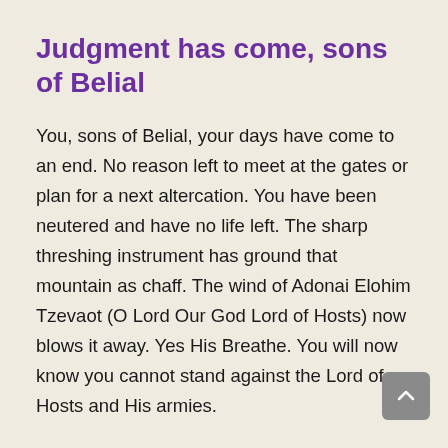Judgment has come, sons of Belial
You, sons of Belial, your days have come to an end. No reason left to meet at the gates or plan for a next altercation. You have been neutered and have no life left. The sharp threshing instrument has ground that mountain as chaff. The wind of Adonai Elohim Tzevaot (O Lord Our God Lord of Hosts) now blows it away. Yes His Breathe. You will now know you cannot stand against the Lord of Hosts and His armies.
My plan has been invoked. My fullness has come. My blessing released unto My children. I have wiped all tears from their eyes. I have set them in YOUR houses and YOUR lofty places. You will wail with disgust but to no avail. To bring to naught those who thought they are an island unto themselves, so the